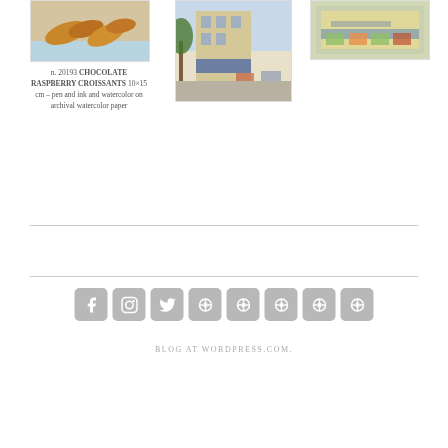[Figure (photo): Chocolate raspberry croissants painting - pen and ink watercolor]
n. 20193 CHOCOLATE RASPBERRY CROISSANTS 10×15 cm – pen and ink and watercolor on archival watercolor paper
[Figure (illustration): Watercolor painting of a street scene with buildings and trees]
[Figure (illustration): Watercolor painting of a street scene with a shop front]
[Figure (infographic): Social media icons row: Facebook, Instagram, Twitter, and 5 additional circular/share icons, all in grey rounded square buttons]
BLOG AT WORDPRESS.COM.